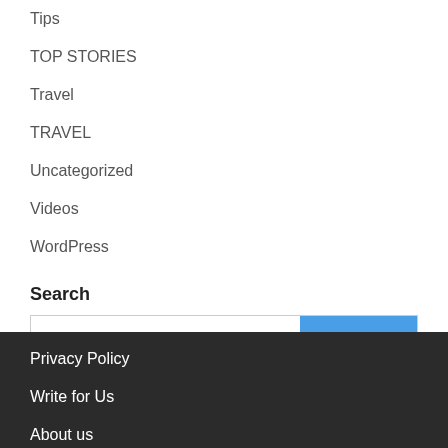Tips
TOP STORIES
Travel
TRAVEL
Uncategorized
Videos
WordPress
Search
Privacy Policy
Write for Us
About us